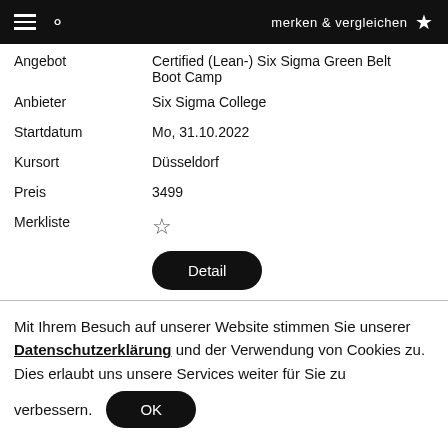merken & vergleichen
| Angebot | Certified (Lean-) Six Sigma Green Belt Boot Camp |
| Anbieter | Six Sigma College |
| Startdatum | Mo, 31.10.2022 |
| Kursort | Düsseldorf |
| Preis | 3499 |
| Merkliste | ☆ |
|  | Detail |
Mit Ihrem Besuch auf unserer Website stimmen Sie unserer Datenschutzerklärung und der Verwendung von Cookies zu. Dies erlaubt uns unsere Services weiter für Sie zu verbessern.
OK